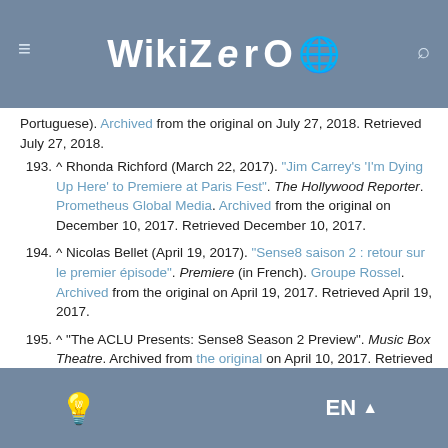WikiZero
Portuguese). Archived from the original on July 27, 2018. Retrieved July 27, 2018.
193. ^ Rhonda Richford (March 22, 2017). "Jim Carrey's 'I'm Dying Up Here' to Premiere at Paris Fest". The Hollywood Reporter. Prometheus Global Media. Archived from the original on December 10, 2017. Retrieved December 10, 2017.
194. ^ Nicolas Bellet (April 19, 2017). "Sense8 saison 2 : retour sur le premier épisode". Premiere (in French). Groupe Rossel. Archived from the original on April 19, 2017. Retrieved April 19, 2017.
195. ^ "The ACLU Presents: Sense8 Season 2 Preview". Music Box Theatre. Archived from the original on April 10, 2017. Retrieved April 10, 2017.
196. ^ American Civil Liberties Union of Illinois (April 23, 2017). Lana Wachowski Q&A at the Sense8 season 2 preview at the Music Box Theatre benefitting the ACLU of Illinois (Recording). Retrieved April 25, 2017 – via Facebook.
EN